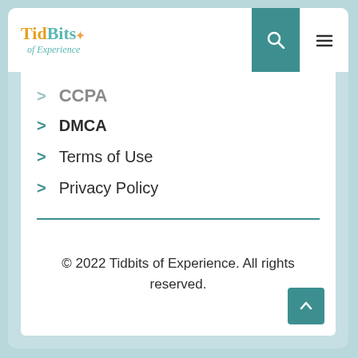TidBits of Experience
CCPA
DMCA
Terms of Use
Privacy Policy
© 2022 Tidbits of Experience. All rights reserved.